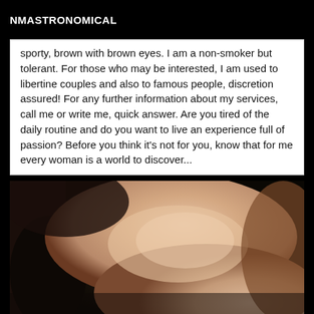NMASTRONOMICAL
sporty, brown with brown eyes. I am a non-smoker but tolerant. For those who may be interested, I am used to libertine couples and also to famous people, discretion assured! For any further information about my services, call me or write me, quick answer. Are you tired of the daily routine and do you want to live an experience full of passion? Before you think it's not for you, know that for me every woman is a world to discover...
[Figure (photo): Close-up photo of a person's body, warm skin tones, dark background and fabric visible at left edge]